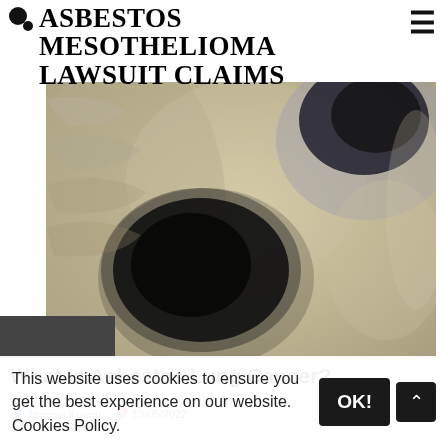ASBESTOS MESOTHELIOMA LAWSUIT CLAIMS
[Figure (photo): Grayscale X-ray image of a chest showing a large dark mass (tumor) in the lung area, with another mass visible in the upper right. The image has a sepia/yellowish tint.]
What Is Asbestos Lung Cancer?
Jeannie Kotaru · 13/05/2022
This website uses cookies to ensure you get the best experience on our website. Cookies Policy.
OK!